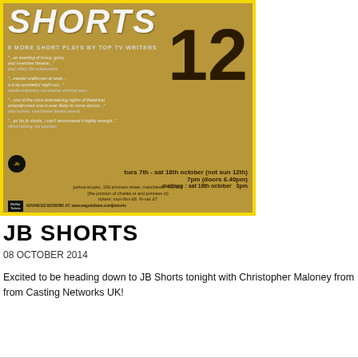[Figure (photo): Poster for JB Shorts 12 theatre show. Yellow border surrounding a golden/brown background with large text 'SHORTS 12' and subtitle '6 MORE SHORT PLAYS BY TOP TV WRITERS'. Contains reviews quotes and event details: tues 7th - sat 18th october (not sun 12th), 7pm (doors 6.40pm), matinee: sat 18th october 3pm, joshua brooks, 106 princess street, manchester m1 6ng, tickets: mon-thur £6 fri-sat £7, ADVANCED BOOKING AT: www.wegottickets.com/jbshorts]
JB SHORTS
08 OCTOBER 2014
Excited to be heading down to JB Shorts tonight with Christopher Maloney from from Casting Networks UK!